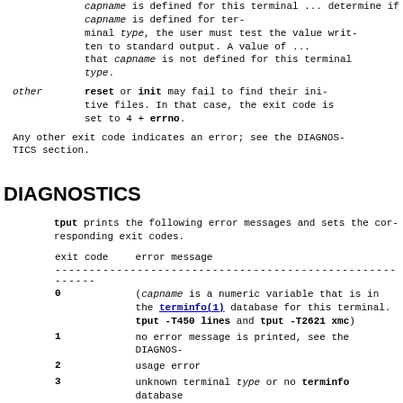capname is defined for this terminal ... determine if capname is defined for terminal type, the user must test the value written to standard output. A value of ... that capname is not defined for this type.
other  reset or init may fail to find their initiative files. In that case, the exit code is set to 4 + errno.
Any other exit code indicates an error; see the DIAGNOSTICS section.
DIAGNOSTICS
tput prints the following error messages and sets the corresponding exit codes.
| exit code | error message |
| --- | --- |
| 0 | (capname  is a numeric variable that is in the terminfo(1) database for this terminal. tput -T450 lines and tput -T2621 xmc) |
| 1 | no error message is printed, see the DIAGNOSTICS section. |
| 2 | usage error |
| 3 | ... |